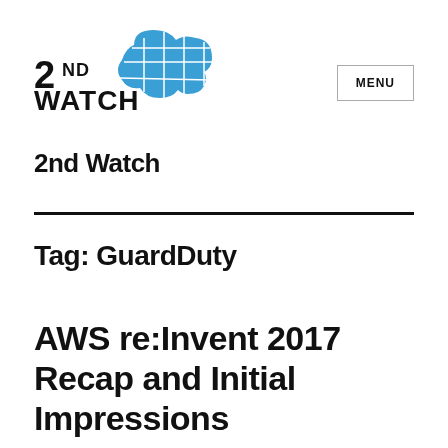[Figure (logo): 2nd Watch logo with cloud graphic and '2ND WATCH' text]
MENU
2nd Watch
Tag: GuardDuty
AWS re:Invent 2017 Recap and Initial Impressions